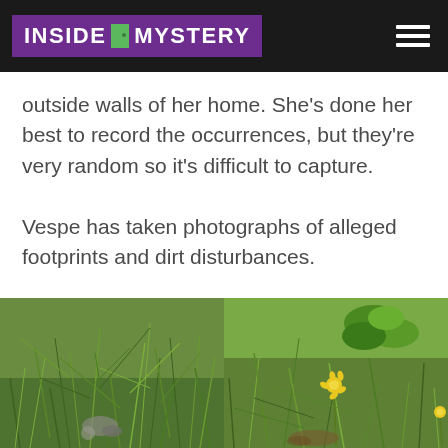INSIDE MYSTERY
outside walls of her home. She's done her best to record the occurrences, but they're very random so it's difficult to capture.
Vespe has taken photographs of alleged footprints and dirt disturbances.
[Figure (photo): Close-up photograph of tangled grass and weeds on the ground with some small debris visible]
[Figure (photo): Close-up photograph of green leafy plants and grass with yellow dandelion flowers visible]